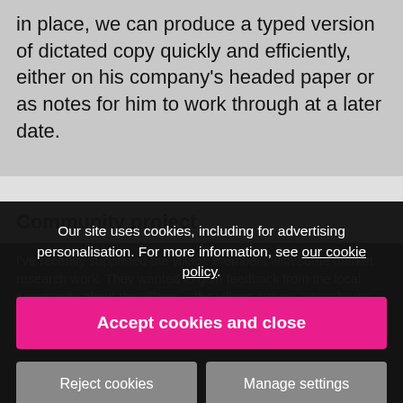in place, we can produce a typed version of dictated copy quickly and efficiently, either on his company's headed paper or as notes for him to work through at a later date.
Community project
I've recently supported the village members with some market research work. They wanted to gain feedback from the local community about the village… they produced a SurveyMonkey survey, arranged distribution of several hundred hard copies and collated
Our site uses cookies, including for advertising personalisation. For more information, see our cookie policy.
Accept cookies and close
Reject cookies
Manage settings